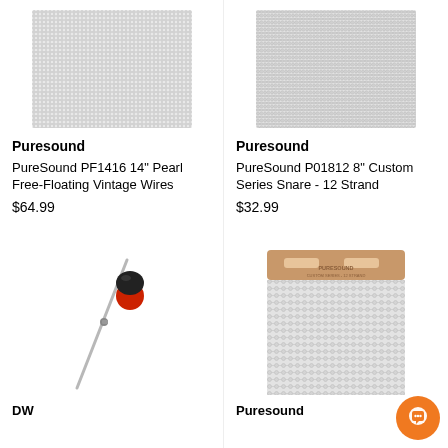[Figure (photo): Puresound PF1416 14 inch Pearl Free-Floating Vintage Wires snare wire mesh close-up]
[Figure (photo): Puresound P01812 8 inch Custom Series Snare 12 Strand snare wire mesh close-up]
Puresound
PureSound PF1416 14" Pearl Free-Floating Vintage Wires
$64.99
Puresound
PureSound P01812 8" Custom Series Snare - 12 Strand
$32.99
[Figure (photo): Drumstick mallet with black and red head on a metal rod]
[Figure (photo): Puresound snare wires with copper/brass top plate showing brand text]
DW
Puresound